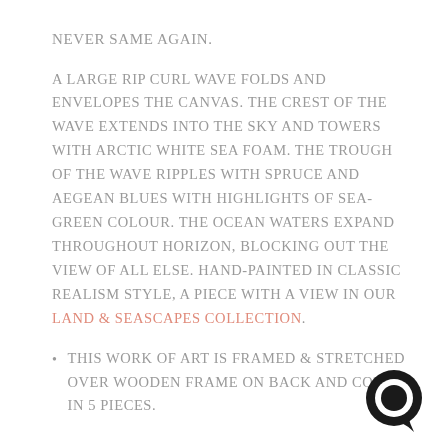NEVER SAME AGAIN.
A LARGE RIP CURL WAVE FOLDS AND ENVELOPES THE CANVAS. THE CREST OF THE WAVE EXTENDS INTO THE SKY AND TOWERS WITH ARCTIC WHITE SEA FOAM. THE TROUGH OF THE WAVE RIPPLES WITH SPRUCE AND AEGEAN BLUES WITH HIGHLIGHTS OF SEA-GREEN COLOUR. THE OCEAN WATERS EXPAND THROUGHOUT HORIZON, BLOCKING OUT THE VIEW OF ALL ELSE. HAND-PAINTED IN CLASSIC REALISM STYLE, A PIECE WITH A VIEW IN OUR LAND & SEASCAPES COLLECTION.
THIS WORK OF ART IS FRAMED & STRETCHED OVER WOODEN FRAME ON BACK AND COMES IN 5 PIECES.
[Figure (illustration): Black circular chat/message icon in the bottom right corner of the page]